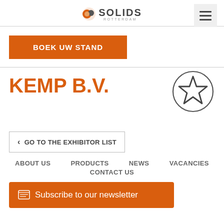SOLIDS ROTTERDAM
[Figure (logo): Solids Rotterdam logo with orange and grey circle icon and bold text SOLIDS with ROTTERDAM subtitle]
[Figure (other): Hamburger menu icon (three horizontal lines) on light grey background]
BOEK UW STAND
KEMP B.V.
[Figure (illustration): Star icon inside a circle outline, dark grey stroke, no fill]
< GO TO THE EXHIBITOR LIST
ABOUT US   PRODUCTS   NEWS   VACANCIES   CONTACT US
Subscribe to our newsletter